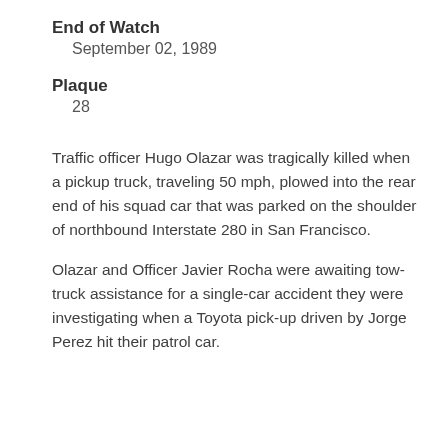End of Watch
September 02, 1989
Plaque
28
Traffic officer Hugo Olazar was tragically killed when a pickup truck, traveling 50 mph, plowed into the rear end of his squad car that was parked on the shoulder of northbound Interstate 280 in San Francisco.
Olazar and Officer Javier Rocha were awaiting tow-truck assistance for a single-car accident they were investigating when a Toyota pick-up driven by Jorge Perez hit their patrol car.